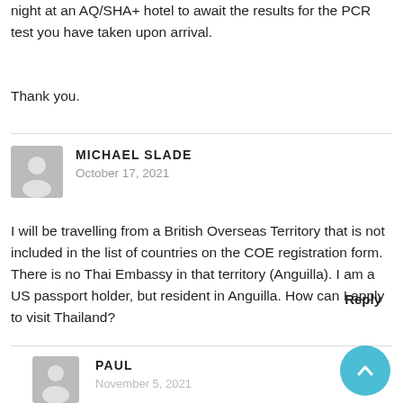night at an AQ/SHA+ hotel to await the results for the PCR test you have taken upon arrival.
Thank you.
MICHAEL SLADE
October 17, 2021
Reply
I will be travelling from a British Overseas Territory that is not included in the list of countries on the COE registration form. There is no Thai Embassy in that territory (Anguilla). I am a US passport holder, but resident in Anguilla. How can I apply to visit Thailand?
PAUL
November 5, 2021